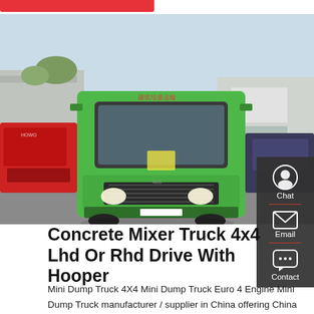[Figure (photo): Front view of a green Sinotruk HOWO dump truck parked in a yard, with a red truck visible on the left and blue/grey trucks on the right, industrial buildings in the background.]
Concrete Mixer Truck 4x4 Lhd Or Rhd Drive With Hooper
Mini Dump Truck 4X4 Mini Dump Truck Euro 4 Engine Mini Dump Truck manufacturer / supplier in China offering China Sinotruk HOWO Euro 2 3 4 4X2 4X4 off